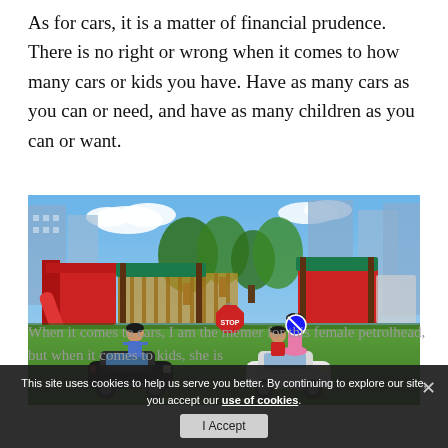As for cars, it is a matter of financial prudence. There is no right or wrong when it comes to how many cars or kids you have. Have as many cars as you can or need, and have as many children as you can or want.
[Figure (photo): Children playing at a playground with toy cars (black and white miniature Audi cars). A boy in blue shirt drives a black car, a girl in pink dress stands nearby, a child in red sits in a white car. Colourful playground equipment with slides in the background. City high-rise buildings and palm trees visible.]
When it comes to cars, I am the memer for this female petrolhead, but when it comes to kids, she is